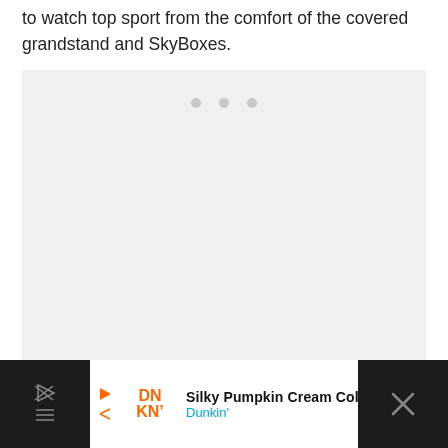to watch top sport from the comfort of the covered grandstand and SkyBoxes.
[Figure (other): A light gray placeholder box with three small gray dots near the top center, indicating a loading or empty media embed area.]
[Figure (other): Advertisement bar at the bottom: Dunkin' ad featuring 'Silky Pumpkin Cream Cold Foam', orange DN KN logo, blue Dunkin' text, orange navigation arrow icon, and a close button with X on dark background.]